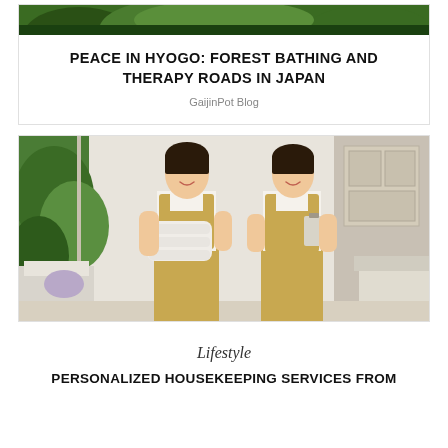[Figure (photo): Forest/nature top banner image showing green trees and foliage]
PEACE IN HYOGO: FOREST BATHING AND THERAPY ROADS IN JAPAN
GaijinPot Blog
[Figure (photo): Two female hotel staff members in khaki uniforms smiling, one holding white towels, the other holding a clipboard, standing in a bright hotel room with white furniture and green plants visible through windows]
Lifestyle
PERSONALIZED HOUSEKEEPING SERVICES FROM